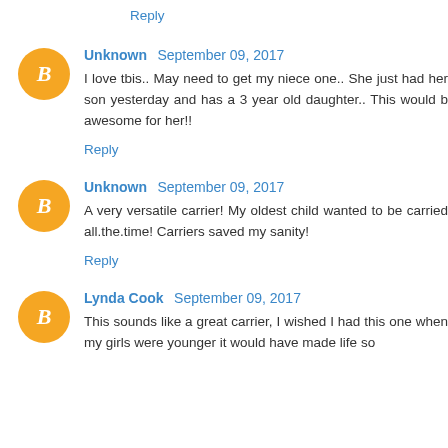Reply
Unknown  September 09, 2017
I love tbis.. May need to get my niece one.. She just had her son yesterday and has a 3 year old daughter.. This would b awesome for her!!
Reply
Unknown  September 09, 2017
A very versatile carrier! My oldest child wanted to be carried all.the.time! Carriers saved my sanity!
Reply
Lynda Cook  September 09, 2017
This sounds like a great carrier, I wished I had this one when my girls were younger it would have made life so